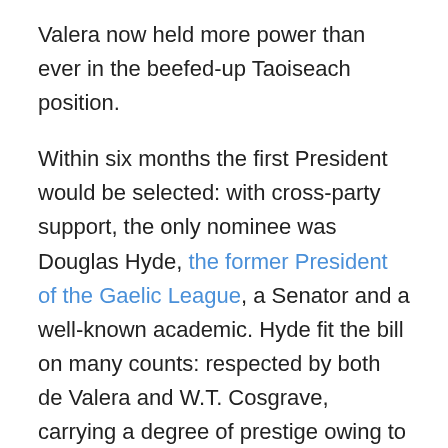Valera now held more power than ever in the beefed-up Taoiseach position.
Within six months the first President would be selected: with cross-party support, the only nominee was Douglas Hyde, the former President of the Gaelic League, a Senator and a well-known academic. Hyde fit the bill on many counts: respected by both de Valera and W.T. Cosgrave, carrying a degree of prestige owing to his background without any stain from the revolutionary period, a man no one would be worried would attempt to seize dictatorial power and, as a sop to those who felt the Constitution was too Catholic, a Protestant. Taking up residence in the re-named Viceregal Lodge – now Aras an Uachtarain, as it remains today – Hyde lived a quiet life as President, not least because of health issues that afflicted his throughout his tenure, and his sense of ability...